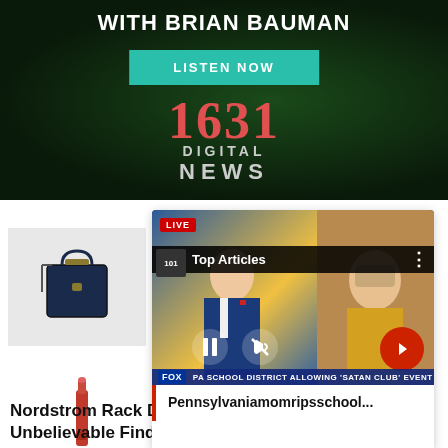WITH BRIAN BAUMAN
LISTEN NOW
[Figure (logo): 1631 Digital News logo in red serif numerals on dark background]
[Figure (screenshot): Video player showing Fox News broadcast with anchor and split screen of woman, Top Articles overlay, Pennsylvania mom rips school headline, pause and mute controls]
Pennsylvaniamomripsschool...
[Figure (photo): Dark blue designer handbag advertisement]
[Figure (photo): Red lipstick advertisement]
Nordstrom Rack Designer Deals: 15 Unbelievable Finds Up to 92% Off